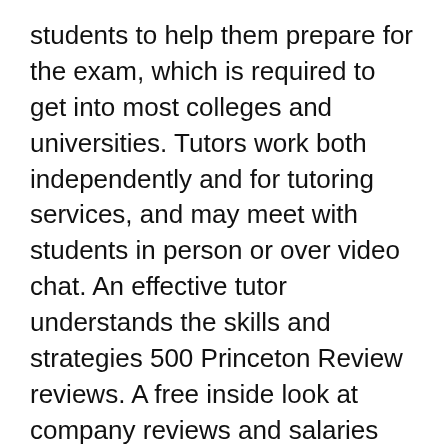students to help them prepare for the exam, which is required to get into most colleges and universities. Tutors work both independently and for tutoring services, and may meet with students in person or over video chat. An effective tutor understands the skills and strategies 500 Princeton Review reviews. A free inside look at company reviews and salaries posted anonymously by employees. A free inside look at company reviews and salaries posted anonymously by employees. Princeton Review Teacher/Tutor Reviews Glassdoor
Today's top 35 The Princeton Review Tutor jobs in United States. Leverage